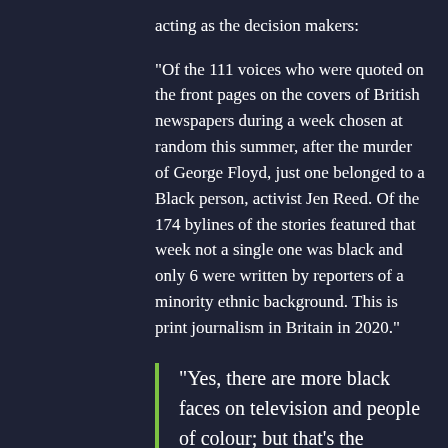acting as the decision makers:
“Of the 111 voices who were quoted on the front pages on the covers of British newspapers during a week chosen at random this summer, after the murder of George Floyd, just one belonged to a Black person, activist Jen Reed. Of the 174 bylines of the stories featured that week not a single one was black and only 6 were written by reporters of a minority ethnic background. This is print journalism in Britain in 2020.”
“Yes, there are more black faces on television and people of colour; but that’s the window dressing. I’m